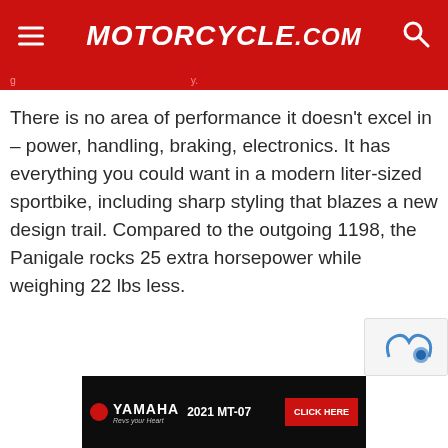MOTORCYCLE.COM
There is no area of performance it doesn't excel in – power, handling, braking, electronics. It has everything you could want in a modern liter-sized sportbike, including sharp styling that blazes a new design trail. Compared to the outgoing 1198, the Panigale rocks 25 extra horsepower while weighing 22 lbs less.
[Figure (other): Yamaha 2021 MT-07 advertisement banner with CLICK HERE button]